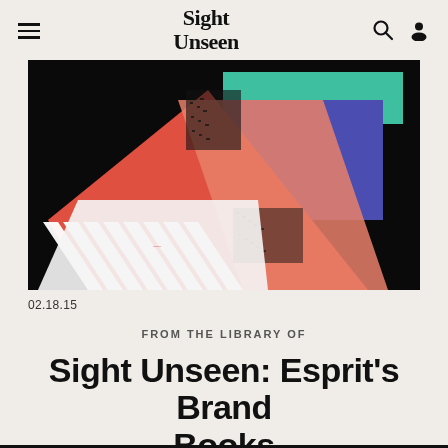Sight Unseen
[Figure (photo): Colorful abstract image of overlapping books or brand materials in red, purple, green, and white on a black background, representing Esprit brand books.]
02.18.15
FROM THE LIBRARY OF
Sight Unseen: Esprit's Brand Books